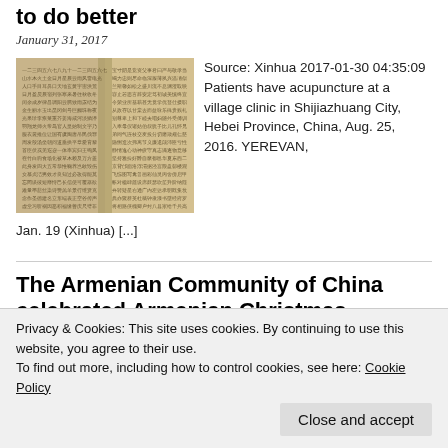to do better
January 31, 2017
[Figure (photo): Open book with dense Chinese/Asian text characters, photographed from above showing yellowed pages]
Source: Xinhua 2017-01-30 04:35:09  Patients have acupuncture at a village clinic in Shijiazhuang City, Hebei Province, China, Aug. 25, 2016. YEREVAN, Jan. 19 (Xinhua) [...]
The Armenian Community of China celebrated Armenian Christmas
Privacy & Cookies: This site uses cookies. By continuing to use this website, you agree to their use.
To find out more, including how to control cookies, see here: Cookie Policy
Close and accept